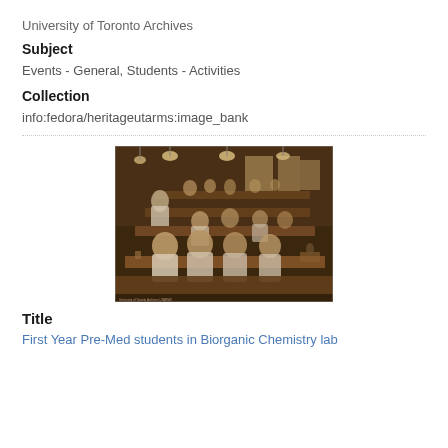University of Toronto Archives
Subject
Events - General, Students - Activities
Collection
info:fedora/heritageutarms:image_bank
[Figure (photo): Sepia-toned historical photograph of First Year Pre-Med students working in a Biorganic Chemistry laboratory. Students are seated at long benches with laboratory equipment. The room has hanging pendant lights and windows. The scene is viewed from an elevated angle showing rows of students at work.]
Title
First Year Pre-Med students in Biorganic Chemistry lab